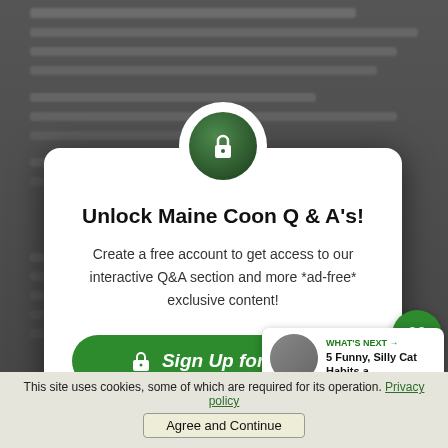[Figure (screenshot): Website modal overlay on a blurred dark background. A white rounded card with a lock icon in a green circle at top center. Title 'Unlock Maine Coon Q & A's!' and body text about creating a free account. Green 'Sign Up for Free!' button. Right side has heart/share FAB buttons and a 'What's Next' card. Bottom cookie consent bar.]
Unlock Maine Coon Q & A's!
Create a free account to get access to our interactive Q&A section and more *ad-free* exclusive content!
Sign Up for Free!
2
WHAT'S NEXT →
5 Funny, Silly Cat Habits a...
This site uses cookies, some of which are required for its operation. Privacy policy
Agree and Continue